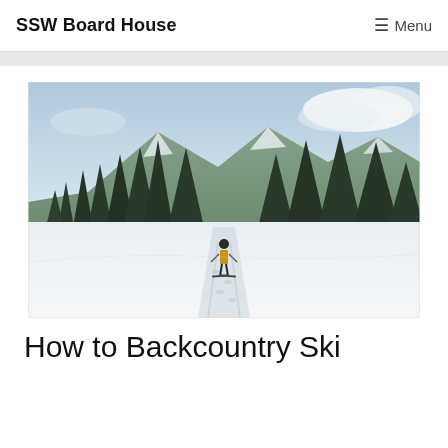SSW Board House  Menu
[Figure (photo): A backcountry skier walking through a snowy landscape with snow-covered evergreen trees and a mountain in the background under a cloudy sky.]
How to Backcountry Ski